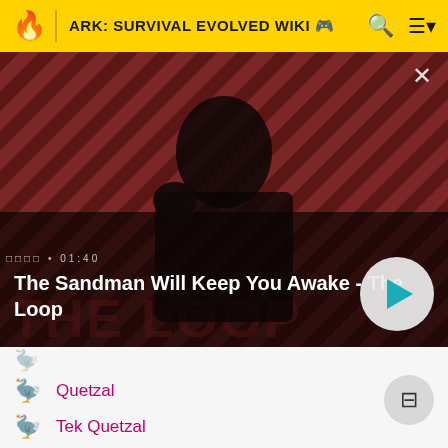ARK: SURVIVAL EVOLVED WIKI
[Figure (screenshot): Video promo banner for 'The Sandman Will Keep You Awake - The Loop' with a dark-cloaked figure holding a raven against a red and dark striped background. Duration shown as 01:40. Play button visible bottom right.]
Quetzal
Tek Quetzal
Tropical Crystal Wyvern
Tusoteuthis
X-Argentavis